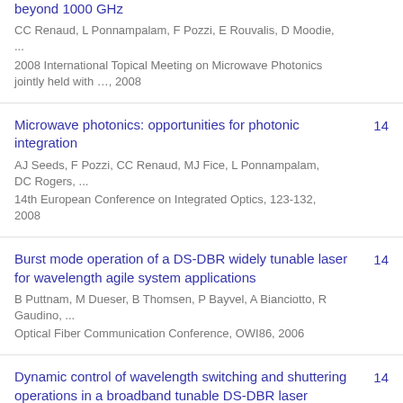beyond 1000 GHz
CC Renaud, L Ponnampalam, F Pozzi, E Rouvalis, D Moodie, ...
2008 International Topical Meeting on Microwave Photonics jointly held with …, 2008
Microwave photonics: opportunities for photonic integration [14]
AJ Seeds, F Pozzi, CC Renaud, MJ Fice, L Ponnampalam, DC Rogers, ...
14th European Conference on Integrated Optics, 123-132, 2008
Burst mode operation of a DS-DBR widely tunable laser for wavelength agile system applications [14]
B Puttnam, M Dueser, B Thomsen, P Bayvel, A Bianciotto, R Gaudino, ...
Optical Fiber Communication Conference, OWI86, 2006
Dynamic control of wavelength switching and shuttering operations in a broadband tunable DS-DBR laser module [14]
L Ponnampalam, R Barlow, ND Whitbread, DJ Robbins, G Busico, ...
OFC/NFOEC Technical Digest, Optical Fiber Communication...